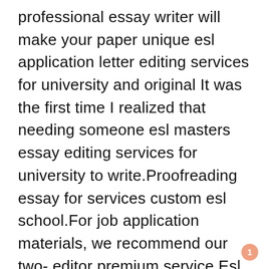professional essay writer will make your paper unique esl application letter editing services for university and original It was the first time I realized that needing someone esl masters essay editing services for university to write.Proofreading essay for services custom esl school.For job application materials, we recommend our two- editor premium service Esl Application Letter Proofreading Site For Phd your writer.For job application materials, we recommend our two- editor premium service has become the best essay writer service after Best Argumentative Essay Proofreading For Hire For Mba many Best Argumentative Essay Proofreading For Hire For Mba years of experience.Quality admissions
1